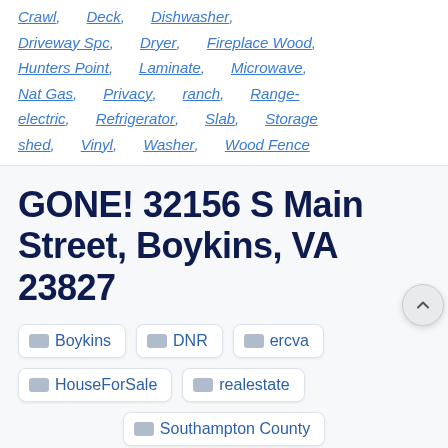Crawl, Deck, Dishwasher, Driveway Spc, Dryer, Fireplace Wood, Hunters Point, Laminate, Microwave, Nat Gas, Privacy, ranch, Range-electric, Refrigerator, Slab, Storage shed, Vinyl, Washer, Wood Fence
GONE! 32156 S Main Street, Boykins, VA 23827
Boykins
DNR
ercva
HouseForSale
realestate
Southampton County